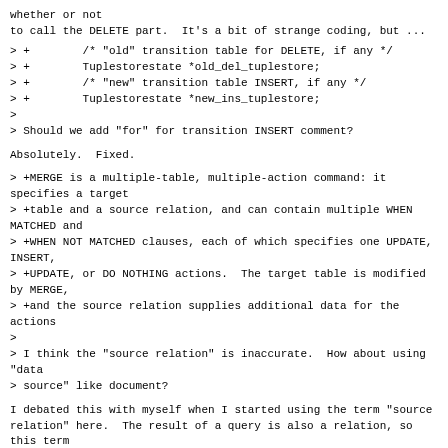whether or not
to call the DELETE part.  It's a bit of strange coding, but ...
> +        /* "old" transition table for DELETE, if any */
> +        Tuplestorestate *old_del_tuplestore;
> +        /* "new" transition table INSERT, if any */
> +        Tuplestorestate *new_ins_tuplestore;
>
> Should we add "for" for transition INSERT comment?
Absolutely.  Fixed.
> +MERGE is a multiple-table, multiple-action command: it specifies a target
> +table and a source relation, and can contain multiple WHEN MATCHED and
> +WHEN NOT MATCHED clauses, each of which specifies one UPDATE, INSERT,
> +UPDATE, or DO NOTHING actions.  The target table is modified by MERGE,
> +and the source relation supplies additional data for the actions
>
> I think the "source relation" is inaccurate.  How about using "data
> source" like document?
I debated this with myself when I started using the term "source
relation" here.  The result of a query is also a relation, so this term
is not incorrect; in fact, the glossary entry for "relation" explains
this:
https://www.postgresql.org/docs/14/glossary.html#GLOSSARY-RELATION